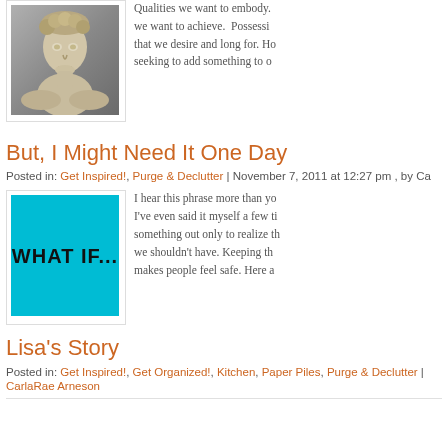[Figure (photo): A marble statue, appearing to be Michelangelo's David, upper torso and face detail]
Qualities we want to embody. we want to achieve. Possessi that we desire and long for. Ho seeking to add something to o
But, I Might Need It One Day
Posted in: Get Inspired!, Purge & Declutter | November 7, 2011 at 12:27 pm , by Ca
[Figure (other): Cyan/turquoise square image with bold black text reading 'WHAT IF...']
I hear this phrase more than yo I've even said it myself a few ti something out only to realize th we shouldn't have. Keeping th makes people feel safe. Here a
Lisa's Story
Posted in: Get Inspired!, Get Organized!, Kitchen, Paper Piles, Purge & Declutter |
CarlaRae Arneson